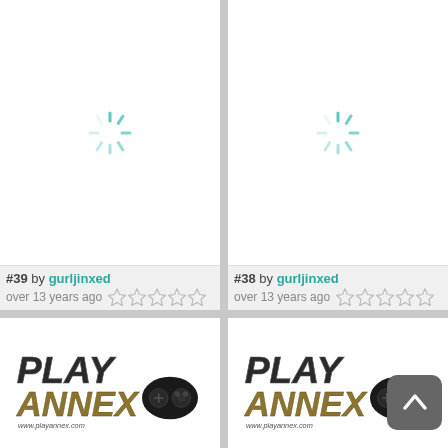[Figure (screenshot): Loading spinner icon (teal/cyan radial lines) in white image area for item #39]
#39 by gurljinxed
over 13 years ago
[Figure (screenshot): Loading spinner icon (teal/cyan radial lines) in white image area for item #38]
#38 by gurljinxed
over 13 years ago
[Figure (logo): Play Annex logo with game controller - PLAY in dark metallic letters, ANNEX in gold/brown letters, www.playannex.com below, black game controller graphic - item #35]
#35 by gurljinxed
[Figure (logo): Play Annex logo with game controller - PLAY in dark metallic letters, ANNEX in gold/brown letters, www.playannex.com below, black game controller graphic - item #34]
#34 by gurljinxed